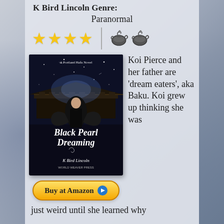K Bird Lincoln Genre:
Paranormal
[Figure (infographic): Four gold stars rating and two teapot icons]
[Figure (photo): Book cover of 'Black Pearl Dreaming – A Portland Hafu Novel' by K Bird Lincoln, World Weaver Press, showing a woman in dark clothing in front of a Japanese-style building with mystical sparkles]
Buy at Amazon
Koi Pierce and her father are 'dream eaters', aka Baku. Koi grew up thinking she was
just weird until she learned why